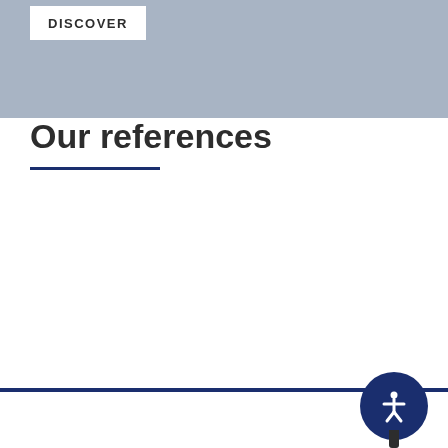DISCOVER
Our references
ORGANIZATIONS
We provide hardware and IT solutions to numerous international and governmental organizations.